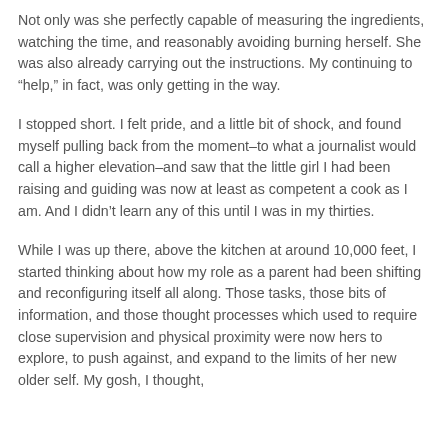Not only was she perfectly capable of measuring the ingredients, watching the time, and reasonably avoiding burning herself. She was also already carrying out the instructions. My continuing to “help,” in fact, was only getting in the way.
I stopped short. I felt pride, and a little bit of shock, and found myself pulling back from the moment–to what a journalist would call a higher elevation–and saw that the little girl I had been raising and guiding was now at least as competent a cook as I am. And I didn’t learn any of this until I was in my thirties.
While I was up there, above the kitchen at around 10,000 feet, I started thinking about how my role as a parent had been shifting and reconfiguring itself all along. Those tasks, those bits of information, and those thought processes which used to require close supervision and physical proximity were now hers to explore, to push against, and expand to the limits of her new older self. My gosh, I thought,